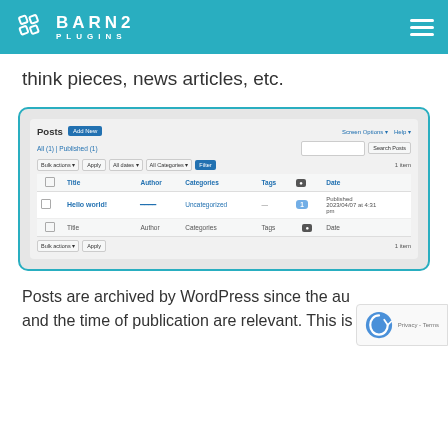BARN2 PLUGINS
think pieces, news articles, etc.
[Figure (screenshot): WordPress admin Posts screen showing a table with one post 'Hello world!' by an author, categorized as Uncategorized, with a comment bubble showing 1, and published date 2023/04/07 at 4:31 pm. Includes filter bar with Bulk actions, Apply, All dates, All Categories, Filter dropdowns, and Search Posts button.]
Posts are archived by WordPress since the au and the time of publication are relevant. This is